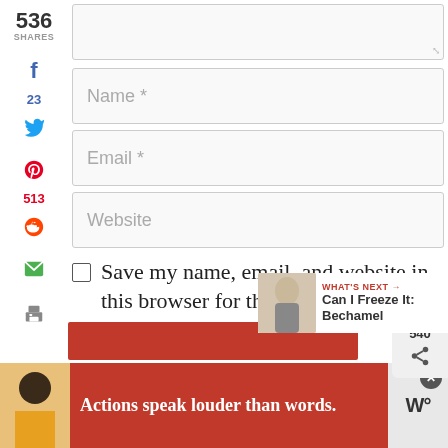[Figure (screenshot): Web form with Name, Email, Website fields and social share sidebar]
536
SHARES
f
23
Twitter icon
Pinterest icon
513
Reddit icon
Email icon
Print icon
Name *
Email *
Website
Save my name, email, and website in this browser for the next time I comment.
540
WHAT'S NEXT → Can I Freeze It: Bechamel
Actions speak louder than words.